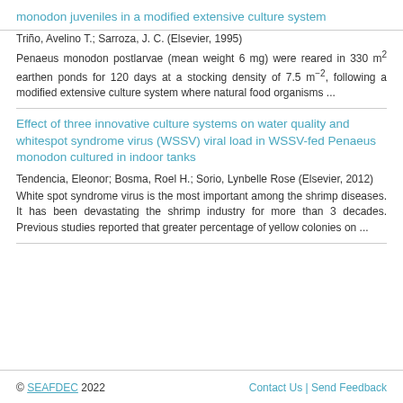monodon juveniles in a modified extensive culture system
Triño, Avelino T.; Sarroza, J. C. (Elsevier, 1995)
Penaeus monodon postlarvae (mean weight 6 mg) were reared in 330 m2 earthen ponds for 120 days at a stocking density of 7.5 m−2, following a modified extensive culture system where natural food organisms ...
Effect of three innovative culture systems on water quality and whitespot syndrome virus (WSSV) viral load in WSSV-fed Penaeus monodon cultured in indoor tanks
Tendencia, Eleonor; Bosma, Roel H.; Sorio, Lynbelle Rose (Elsevier, 2012)
White spot syndrome virus is the most important among the shrimp diseases. It has been devastating the shrimp industry for more than 3 decades. Previous studies reported that greater percentage of yellow colonies on ...
© SEAFDEC 2022    Contact Us | Send Feedback